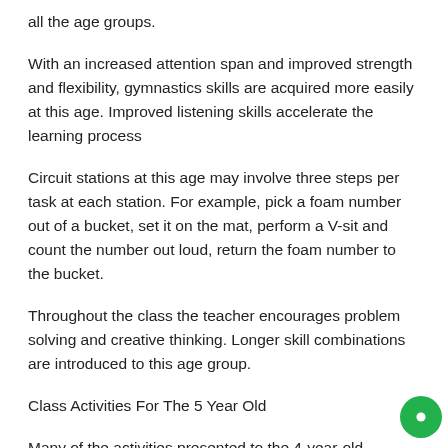all the age groups.
With an increased attention span and improved strength and flexibility, gymnastics skills are acquired more easily at this age. Improved listening skills accelerate the learning process
Circuit stations at this age may involve three steps per task at each station. For example, pick a foam number out of a bucket, set it on the mat, perform a V-sit and count the number out loud, return the foam number to the bucket.
Throughout the class the teacher encourages problem solving and creative thinking. Longer skill combinations are introduced to this age group.
Class Activities For The 5 Year Old
Many of the activities presented to the 4-year-old students are